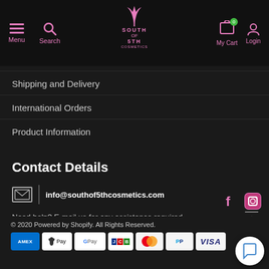South of 5th Cosmetics — Menu, Search, My Cart, Login
Shipping and Delivery
International Orders
Product Information
Contact Details
info@southof5thcosmetics.com
Need help? E-mail us for any assistance required.
© 2020 Powered by Shopify. All Rights Reserved.